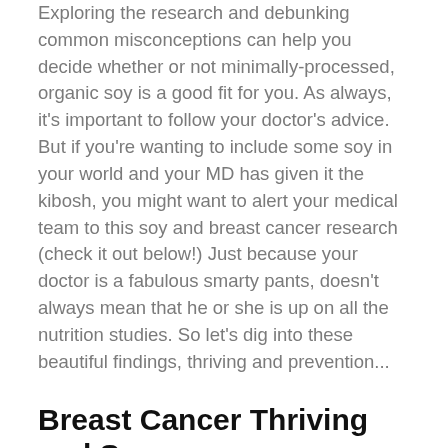Exploring the research and debunking common misconceptions can help you decide whether or not minimally-processed, organic soy is a good fit for you. As always, it's important to follow your doctor's advice. But if you're wanting to include some soy in your world and your MD has given it the kibosh, you might want to alert your medical team to this soy and breast cancer research (check it out below!) Just because your doctor is a fabulous smarty pants, doesn't always mean that he or she is up on all the nutrition studies. So let's dig into these beautiful findings, thriving and prevention...
Breast Cancer Thriving and Soy
If you're currently a breast cancer thriver, you may